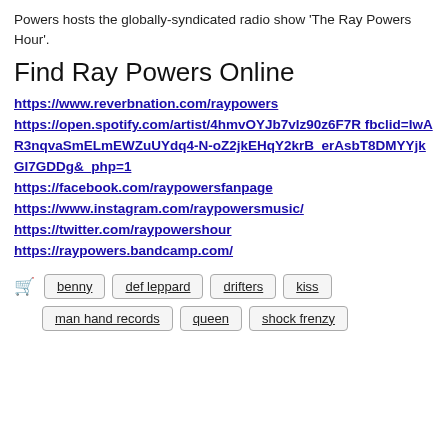Powers hosts the globally-syndicated radio show 'The Ray Powers Hour'.
Find Ray Powers Online
https://www.reverbnation.com/raypowers
https://open.spotify.com/artist/4hmvOYJb7vIz90z6F7R fbclid=IwAR3nqvaSmELmEWZuUYdq4-N-oZ2jkEHqY2krB_erAsbT8DMYYjkGI7GDDg&_php=1
https://facebook.com/raypowersfanpage
https://www.instagram.com/raypowersmusic/
https://twitter.com/raypowershour
https://raypowers.bandcamp.com/
benny
def leppard
drifters
kiss
man hand records
queen
shock frenzy